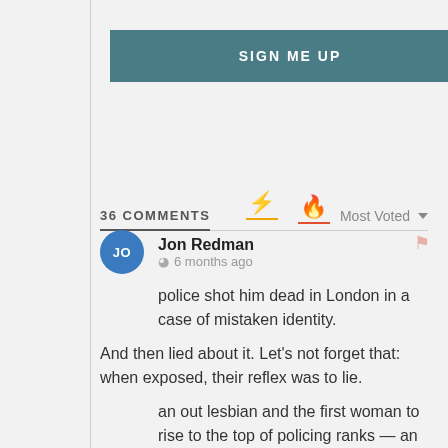[Figure (other): SIGN ME UP button in dark teal color]
36 COMMENTS
Most Voted ▼
JO Jon Redman  6 months ago
police shot him dead in London in a case of mistaken identity.
And then lied about it. Let's not forget that: when exposed, their reflex was to lie.
an out lesbian and the first woman to rise to the top of policing ranks — an impressive accomplishment